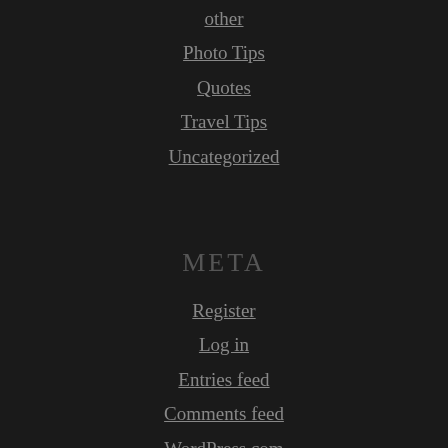other
Photo Tips
Quotes
Travel Tips
Uncategorized
META
Register
Log in
Entries feed
Comments feed
WordPress.com